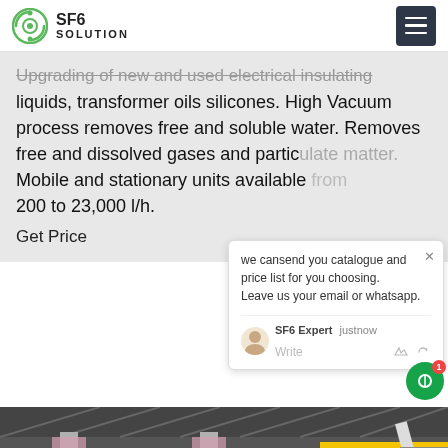SF6 SOLUTION
Upgrading of new and used electrical insulating liquids, transformer oils silicones. High Vacuum process removes free and soluble water. Removes free and dissolved gases and particulate matter. Mobile and stationary units available from 200 to 23,000 l/h.
Get Price
we cansend you catalogue and price list for you choosing.
Leave us your email or whatsapp.
SF6 Expert   justnow
Write
[Figure (photo): Yellow truck with crane/equipment parked inside an industrial facility with metal roof structure and columns wrapped in pink/purple material.]